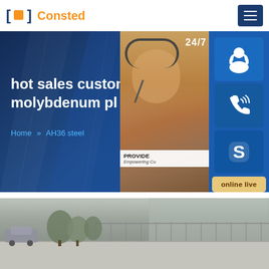Consted
[Figure (screenshot): Website hero banner with dark blue background showing text 'hot sales custom molybdenum pl' and breadcrumb 'Home >> AH36 steel', overlaid with a customer service panel showing 24/7 text, a woman with headset, and contact icons (headset, phone, Skype), plus 'PROVIDE Empowering Cu...' text and 'online live' button]
[Figure (photo): Outdoor photo of an industrial facility exterior with a road/driveway in the foreground, trees, parked car, fence, and building in the background]